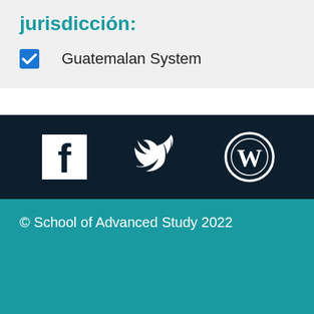jurisdicción:
☑ Guatemalan System
[Figure (logo): Social media icons: Facebook, Twitter, WordPress on dark background]
© School of Advanced Study 2022